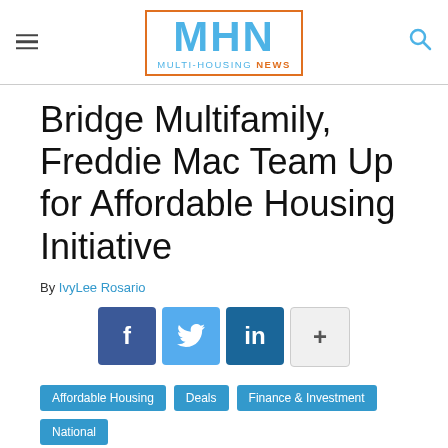MHN MULTI-HOUSING NEWS
Bridge Multifamily, Freddie Mac Team Up for Affordable Housing Initiative
By IvyLee Rosario
[Figure (infographic): Social share buttons: Facebook (f), Twitter (bird), LinkedIn (in), and a plus (+) button]
Affordable Housing  Deals  Finance & Investment  National
More